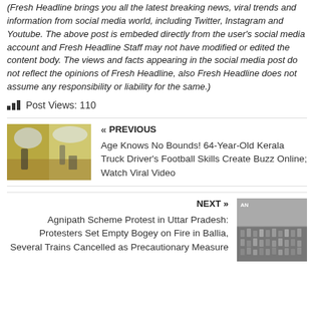(Fresh Headline brings you all the latest breaking news, viral trends and information from social media world, including Twitter, Instagram and Youtube. The above post is embeded directly from the user's social media account and Fresh Headline Staff may not have modified or edited the content body. The views and facts appearing in the social media post do not reflect the opinions of Fresh Headline, also Fresh Headline does not assume any responsibility or liability for the same.)
Post Views: 110
[Figure (photo): Thumbnail image of person in a field, previous article navigation]
« PREVIOUS
Age Knows No Bounds! 64-Year-Old Kerala Truck Driver's Football Skills Create Buzz Online; Watch Viral Video
[Figure (photo): Thumbnail image of crowd, next article navigation]
NEXT »
Agnipath Scheme Protest in Uttar Pradesh: Protesters Set Empty Bogey on Fire in Ballia, Several Trains Cancelled as Precautionary Measure